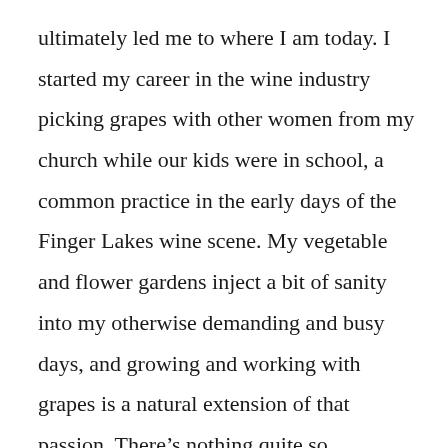ultimately led me to where I am today. I started my career in the wine industry picking grapes with other women from my church while our kids were in school, a common practice in the early days of the Finger Lakes wine scene. My vegetable and flower gardens inject a bit of sanity into my otherwise demanding and busy days, and growing and working with grapes is a natural extension of that passion. There’s nothing quite so therapeutic as yanking out weeds and working in the dirt, especially when you’ve grown up on a farm, as I did.